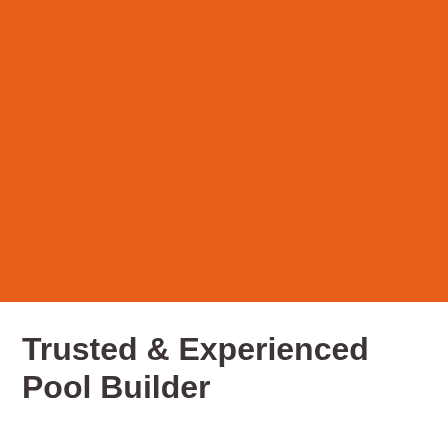[Figure (illustration): Large solid orange-red rectangular block filling the upper portion of the page]
Trusted & Experienced Pool Builder